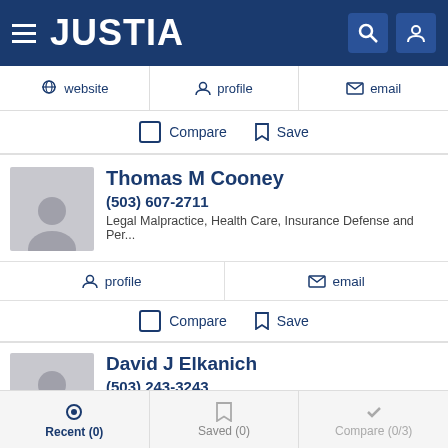JUSTIA
website  profile  email
Compare  Save
Thomas M Cooney
(503) 607-2711
Legal Malpractice, Health Care, Insurance Defense and Per...
profile  email
Compare  Save
David J Elkanich
(503) 243-3243
Legal Malpractice and Business
Recent (0)  Saved (0)  Compare (0/3)